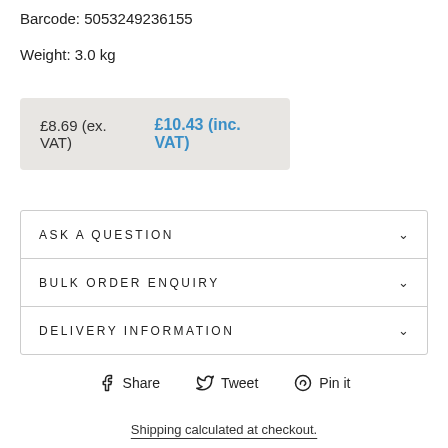Barcode: 5053249236155
Weight: 3.0 kg
£8.69 (ex. VAT)   £10.43 (inc. VAT)
ASK A QUESTION
BULK ORDER ENQUIRY
DELIVERY INFORMATION
Share   Tweet   Pin it
Shipping calculated at checkout.